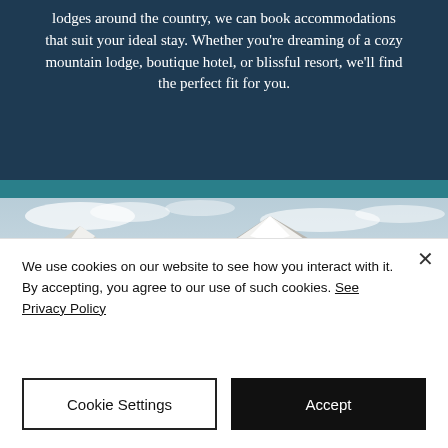lodges around the country, we can book accommodations that suit your ideal stay. Whether you're dreaming of a cozy mountain lodge, boutique hotel, or blissful resort, we'll find the perfect fit for you.
[Figure (photo): Scenic landscape photo showing snow-capped mountains in the background with misty geothermal steam rising from golden grassland and a river or lake in the foreground.]
We use cookies on our website to see how you interact with it. By accepting, you agree to our use of such cookies. See Privacy Policy